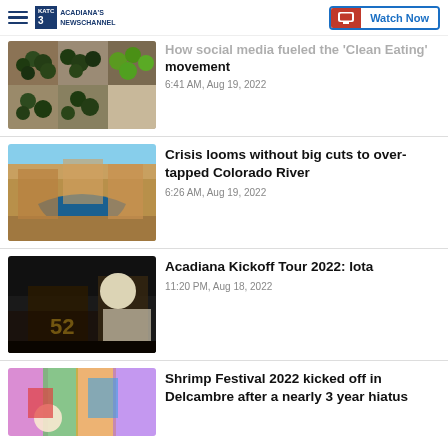Acadiana's Newschannel — Watch Now
How social media fueled the 'Clean Eating' movement
6:41 AM, Aug 19, 2022
Crisis looms without big cuts to over-tapped Colorado River
6:26 AM, Aug 19, 2022
Acadiana Kickoff Tour 2022: Iota
11:20 PM, Aug 18, 2022
Shrimp Festival 2022 kicked off in Delcambre after a nearly 3 year hiatus